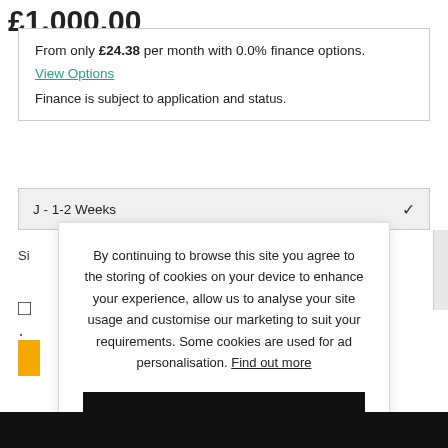£1,000.00
From only £24.38 per month with 0.0% finance options.
View Options
Finance is subject to application and status.
J - 1-2 Weeks
Si
By continuing to browse this site you agree to the storing of cookies on your device to enhance your experience, allow us to analyse your site usage and customise our marketing to suit your requirements. Some cookies are used for ad personalisation. Find out more
CONTINUE SHOPPING